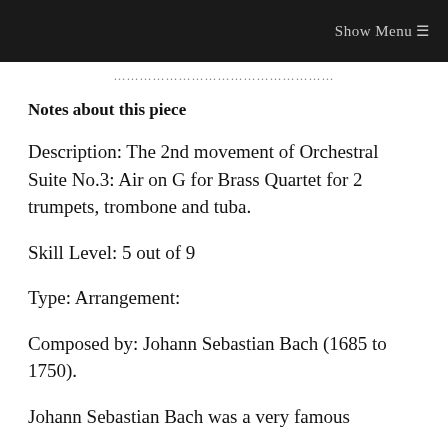Show Menu ☰
…………………………
Notes about this piece
Description: The 2nd movement of Orchestral Suite No.3: Air on G for Brass Quartet for 2 trumpets, trombone and tuba.
Skill Level: 5 out of 9
Type: Arrangement:
Composed by: Johann Sebastian Bach (1685 to 1750).
Johann Sebastian Bach was a very famous